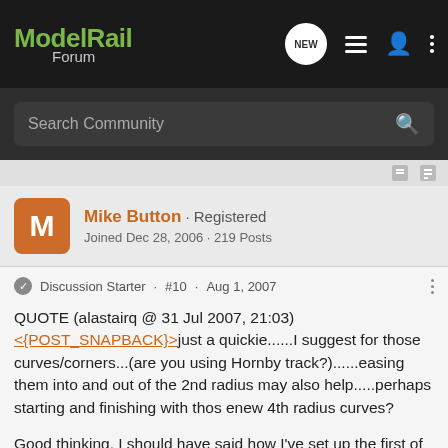ModelRail Forum
Search Community
Mike Button · Registered
Joined Dec 28, 2006 · 219 Posts
Discussion Starter · #10 · Aug 1, 2007
QUOTE (alastairq @ 31 Jul 2007, 21:03)
<{POST_SNAPBACK}>just a quickie......I suggest for those curves/corners...(are you using Hornby track?)......easing them into and out of the 2nd radius may also help.....perhaps starting and finishing with thos enew 4th radius curves?
Good thinking, I should have said how I've set up the first of the ninty degree curve, yes I am using Hornby set track. I had to clear the scenic baseboard corner and still have enough